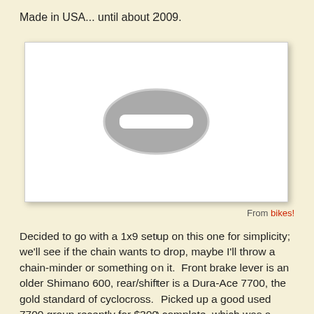Made in USA... until about 2009.
[Figure (photo): Placeholder image with a grey oval/no-image icon in the center of a white box with a drop shadow.]
From bikes!
Decided to go with a 1x9 setup on this one for simplicity; we'll see if the chain wants to drop, maybe I'll throw a chain-minder or something on it.  Front brake lever is an older Shimano 600, rear/shifter is a Dura-Ace 7700, the gold standard of cyclocross.  Picked up a good used 7700 group recently for $300 complete, which was a steal for sure.